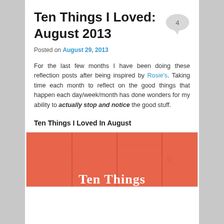Ten Things I Loved: August 2013
Posted on August 29, 2013
For the last few months I have been doing these reflection posts after being inspired by Rosie's. Taking time each month to reflect on the good things that happen each day/week/month has done wonders for my ability to actually stop and notice the good stuff.
Ten Things I Loved In August
[Figure (photo): Orange wooden planks with white text reading 'Ten Things' at the bottom]